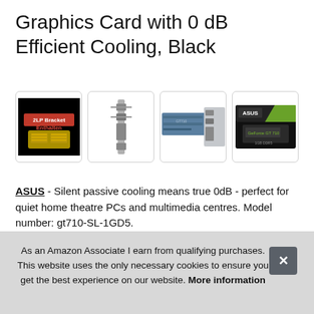Graphics Card with 0 dB Efficient Cooling, Black
[Figure (photo): Four product thumbnail images in rounded-corner boxes: 1) Black badge reading '2LP Bracket Enthalten' with gold bracket icons, 2) Graphics card port strip/bracket (silver), 3) Side view of ASUS GT710 graphics card (blue/grey), 4) ASUS GT710 product box (black/green)]
ASUS - Silent passive cooling means true 0dB - perfect for quiet home theatre PCs and multimedia centres. Model number: gt710-SL-1GD5.
Indu... for b... more visual than ever with an intuitive, all-new UI
As an Amazon Associate I earn from qualifying purchases. This website uses the only necessary cookies to ensure you get the best experience on our website. More information